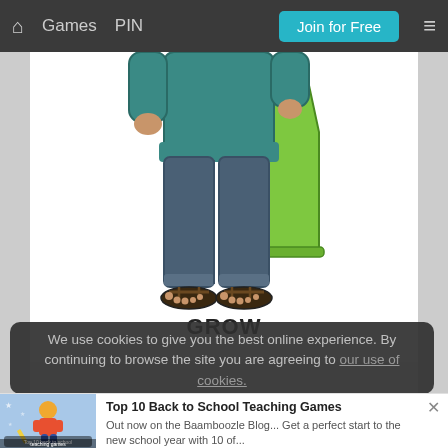Games   PIN   Join for Free
[Figure (illustration): Lower half of a cartoon person wearing a teal shirt, dark jeans rolled at the ankles, and sandals, holding a green bag on the right side. Word GROW displayed below.]
GROW
We use cookies to give you the best online experience. By continuing to browse the site you are agreeing to our use of cookies.
[Figure (illustration): Notification thumbnail showing a cartoon character for Top 10 Back to School Teaching Games blog post]
Top 10 Back to School Teaching Games
Out now on the Baamboozle Blog... Get a perfect start to the new school year with 10 of...